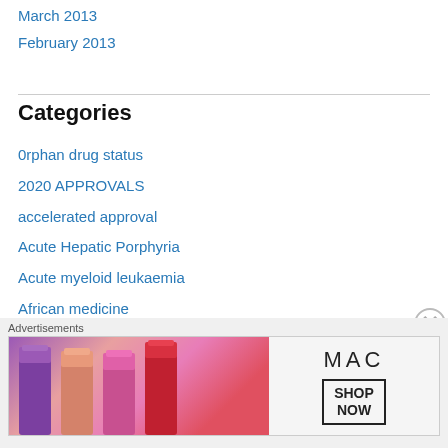March 2013
February 2013
Categories
0rphan drug status
2020 APPROVALS
accelerated approval
Acute Hepatic Porphyria
Acute myeloid leukaemia
African medicine
AIDS
Alzheimer's
ANAESTHETIC
anaesthetics
[Figure (other): Advertisement banner for MAC cosmetics showing lipsticks with Shop Now call to action]
Advertisements